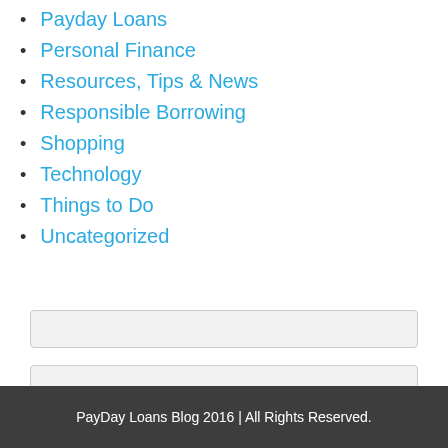Payday Loans
Personal Finance
Resources, Tips & News
Responsible Borrowing
Shopping
Technology
Things to Do
Uncategorized
PayDay Loans Blog 2016 | All Rights Reserved.